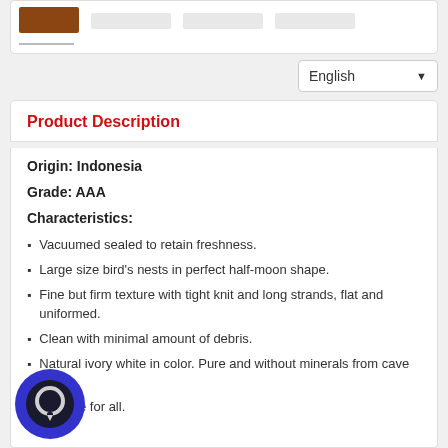Product Description
Origin: Indonesia
Grade: AAA
Characteristics:
Vacuumed sealed to retain freshness.
Large size bird's nests in perfect half-moon shape.
Fine but firm texture with tight knit and long strands, flat and uniformed.
Clean with minimal amount of debris.
Natural ivory white in color. Pure and without minerals from cave walls.
Suitable for all.